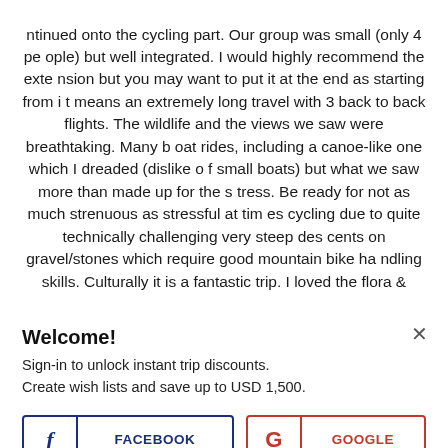ntinued onto the cycling part. Our group was small (only 4 people) but well integrated. I would highly recommend the extension but you may want to put it at the end as starting from it means an extremely long travel with 3 back to back flights. The wildlife and the views we saw were breathtaking. Many boat rides, including a canoe-like one which I dreaded (dislike of small boats) but what we saw more than made up for the stress. Be ready for not as much strenuous as stressful at times cycling due to quite technically challenging very steep descents on gravel/stones which require good mountain bike handling skills. Culturally it is a fantastic trip. I loved the flora &
Welcome!
Sign-in to unlock instant trip discounts.
Create wish lists and save up to USD 1,500.
FACEBOOK
GOOGLE
More login options here.